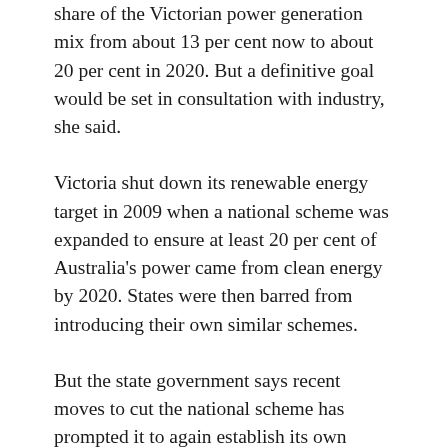share of the Victorian power generation mix from about 13 per cent now to about 20 per cent in 2020. But a definitive goal would be set in consultation with industry, she said.
Victoria shut down its renewable energy target in 2009 when a national scheme was expanded to ensure at least 20 per cent of Australia's power came from clean energy by 2020. States were then barred from introducing their own similar schemes.
But the state government says recent moves to cut the national scheme has prompted it to again establish its own target or otherwise face missing out on investments and jobs.]